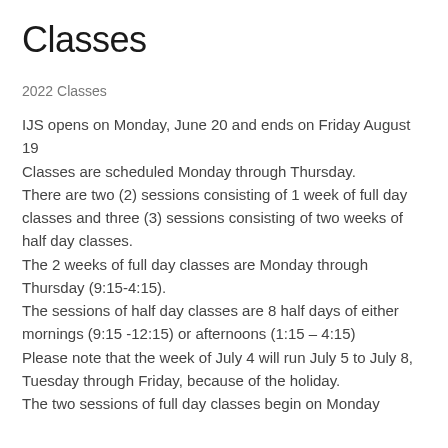Classes
2022 Classes
IJS opens on Monday, June 20 and ends on Friday August 19
Classes are scheduled Monday through Thursday.
There are two (2) sessions consisting of 1 week of full day classes and three (3) sessions consisting of two weeks of half day classes.
The 2 weeks of full day classes are Monday through Thursday (9:15-4:15).
The sessions of half day classes are 8 half days of either mornings (9:15 -12:15) or afternoons (1:15 – 4:15)
Please note that the week of July 4 will run July 5 to July 8, Tuesday through Friday, because of the holiday.
The two sessions of full day classes begin on Monday